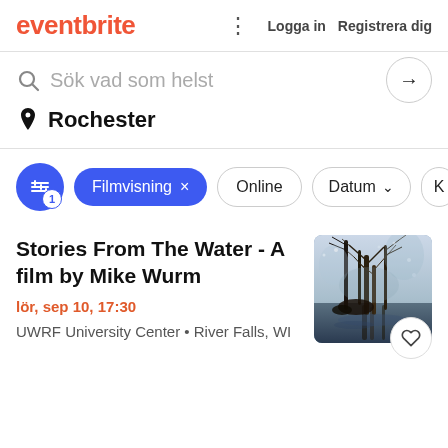eventbrite  ⋮  Logga in  Registrera dig
Sök vad som helst
Rochester
Filmvisning × | Online | Datum ∨ | K
Stories From The Water - A film by Mike Wurm
lör, sep 10, 17:30
UWRF University Center • River Falls, WI
[Figure (photo): Watercolor painting of bare winter trees reflected in water, dark moody tones with blue and brown colors]